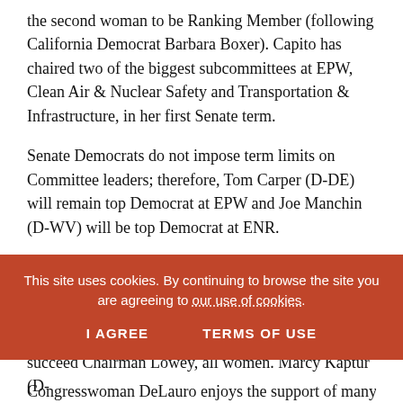the second woman to be Ranking Member (following California Democrat Barbara Boxer). Capito has chaired two of the biggest subcommittees at EPW, Clean Air & Nuclear Safety and Transportation & Infrastructure, in her first Senate term.
Senate Democrats do not impose term limits on Committee leaders; therefore, Tom Carper (D-DE) will remain top Democrat at EPW and Joe Manchin (D-WV) will be top Democrat at ENR.
In the House:
With the retirement of Nita Lowey (D-NY), all eyes turn to the House Appropriations Committee. Three committee members declared their candidacy to succeed Chairman Lowey, all women. Marcy Kaptur (D-
This site uses cookies. By continuing to browse the site you are agreeing to our use of cookies.
I AGREE    TERMS OF USE
Congresswoman DeLauro enjoys the support of many